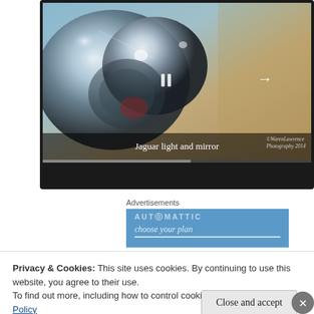[Figure (photo): Slideshow player showing a close-up photograph of chrome Jaguar car light and mirror detail with vintage color treatment. Caption bar reads 'Jaguar light and mirror'. Watermark reads 'WarenLawrence Photography 2014'. Pause and arrow navigation controls visible.]
Advertisements
[Figure (screenshot): Blue advertisement banner showing 'AUTOMATTIC' brand name with italic text below partially cut off]
I processed them in lightroom 5 and used a vintage setting in perfect effects 8 before moving them into
Privacy & Cookies: This site uses cookies. By continuing to use this website, you agree to their use.
To find out more, including how to control cookies, see here: Cookie Policy
Close and accept
Advertisements